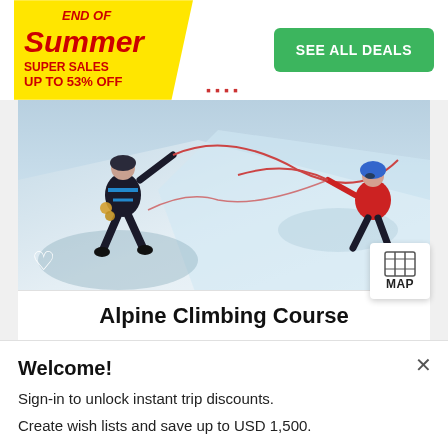[Figure (infographic): Yellow sale badge with 'END OF Summer SUPER SALES UP TO 53% OFF' text and a green 'SEE ALL DEALS' button on the right]
[Figure (photo): Hero photo of alpine climbing course: people on a snowy mountain with ropes and harnesses]
Alpine Climbing Course
Welcome!
Sign-in to unlock instant trip discounts.
Create wish lists and save up to USD 1,500.
FACEBOOK
GOOGLE
More login options here.